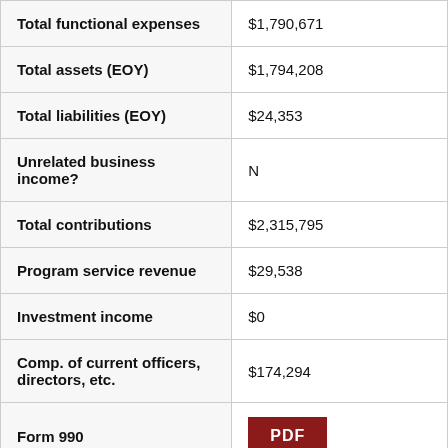| Field | Value |
| --- | --- |
| Total functional expenses | $1,790,671 |
| Total assets (EOY) | $1,794,208 |
| Total liabilities (EOY) | $24,353 |
| Unrelated business income? | N |
| Total contributions | $2,315,795 |
| Program service revenue | $29,538 |
| Investment income | $0 |
| Comp. of current officers, directors, etc. | $174,294 |
| Form 990 | PDF |